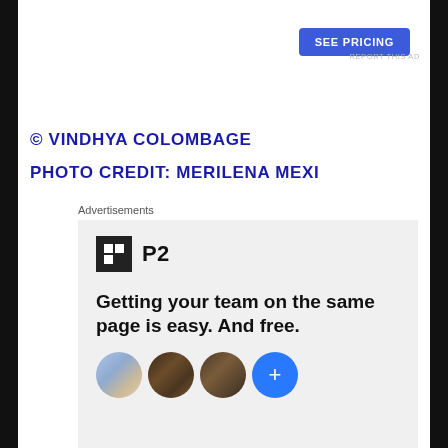[Figure (other): Blue 'SEE PRICING' button in upper right]
REPORT THIS AD
© VINDHYA COLOMBAGE
PHOTO CREDIT: MERILENA MEXI
Advertisements
[Figure (screenshot): P2 advertisement showing logo, headline 'Getting your team on the same page is easy. And free.' with circular avatar photos and a blue plus button]